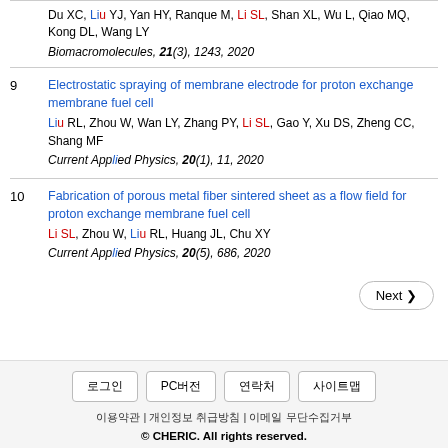8 Du XC, Liu YJ, Yan HY, Ranque M, Li SL, Shan XL, Wu L, Qiao MQ, Kong DL, Wang LY. Biomacromolecules, 21(3), 1243, 2020
9 Electrostatic spraying of membrane electrode for proton exchange membrane fuel cell. Liu RL, Zhou W, Wan LY, Zhang PY, Li SL, Gao Y, Xu DS, Zheng CC, Shang MF. Current Applied Physics, 20(1), 11, 2020
10 Fabrication of porous metal fiber sintered sheet as a flow field for proton exchange membrane fuel cell. Li SL, Zhou W, Liu RL, Huang JL, Chu XY. Current Applied Physics, 20(5), 686, 2020
로그인 | PC버전 | 연락처 | 사이트맵 | 이용약관 | 개인정보 취급방침 | 이메일 무단수집거부 | © CHERIC. All rights reserved.